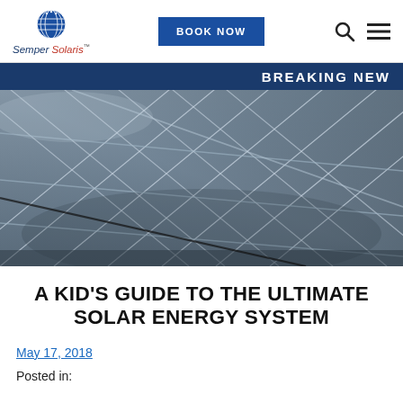Semper Solaris — BOOK NOW — navigation header
BREAKING NEW
[Figure (photo): Close-up photograph of solar panel grid lines and reflective surface, metallic blue-grey tone]
A KID'S GUIDE TO THE ULTIMATE SOLAR ENERGY SYSTEM
May 17, 2018
Posted in: